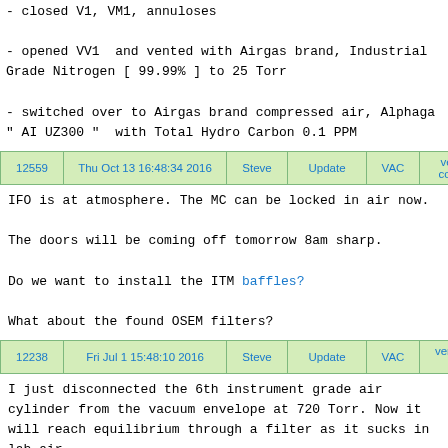- closed V1, VM1, annuloses

- opened VV1  and vented with Airgas brand, Industrial Grade Nitrogen [ 99.99% ] to 25 Torr

- switched over to Airgas brand compressed air, Alphaga" AI UZ300 "  with Total Hydro Carbon 0.1 PPM
| 12559 | Thu Oct 13 16:48:34 2016 | Steve | Update | VAC | vent 79 is completed |
| --- | --- | --- | --- | --- | --- |
IFO is at atmosphere. The MC can be locked in air now.

The doors will be coming off tomorrow 8am sharp.

Do we want to install the ITM baffles?

What about the found OSEM filters?
| 12238 | Fri Jul 1 15:48:10 2016 | Steve | Update | VAC | vent 78 at 7 Torr |
| --- | --- | --- | --- | --- | --- |
I just disconnected the 6th instrument grade air cylinder from the vacuum envelope at 720 Torr. Now it will reach equilibrium through a filter as it sucks in lab air.

This is the sure way not to over pressurize the chambe